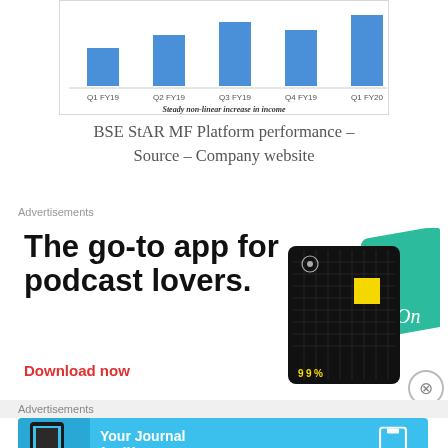[Figure (bar-chart): Steady non-linear increase in income]
BSE StAR MF Platform performance – Source – Company website
Advertisements
[Figure (illustration): Advertisement: The go-to app for podcast lovers. Download now. Shows 99% Invisible podcast app interface.]
Advertisements
[Figure (illustration): Advertisement for DayOne app: Your Journal for life. DAYONE logo.]